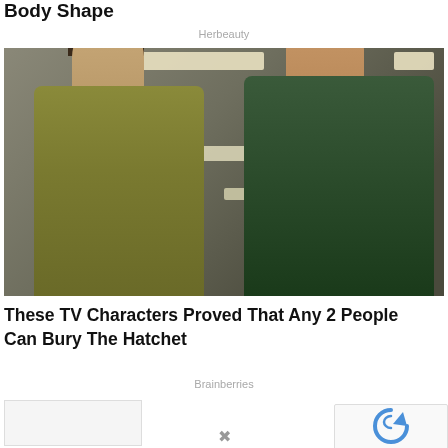Body Shape
Herbeauty
[Figure (photo): Two women standing in an office corridor. Left woman wears an olive/yellow top and has dark hair in a ponytail. Right woman wears a green fitted dress with a brooch and has auburn hair in an updo.]
These TV Characters Proved That Any 2 People Can Bury The Hatchet
Brainberries